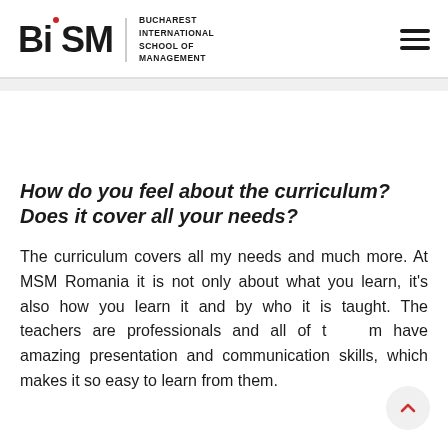BiSM — BUCHAREST INTERNATIONAL SCHOOL OF MANAGEMENT
How do you feel about the curriculum? Does it cover all your needs?
The curriculum covers all my needs and much more. At MSM Romania it is not only about what you learn, it's also how you learn it and by who it is taught. The teachers are professionals and all of them have amazing presentation and communication skills, which makes it so easy to learn from them.